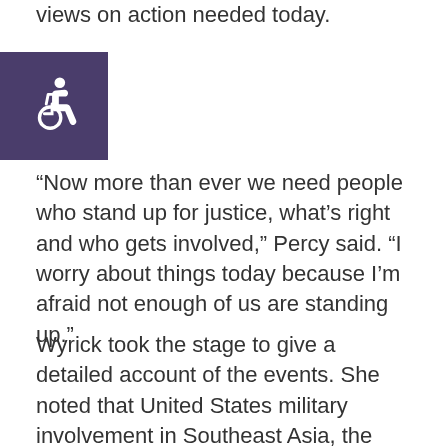views on action needed today.
[Figure (illustration): Accessibility icon — white wheelchair symbol on purple/dark violet square background]
“Now more than ever we need people who stand up for justice, what’s right and who gets involved,” Percy said. “I worry about things today because I’m afraid not enough of us are standing up.”
Wyrick took the stage to give a detailed account of the events. She noted that United States military involvement in Southeast Asia, the unjust incarceration of Black Panther Party member Bobby Seale and a grape boycott to support migrant agricultural workers were a few